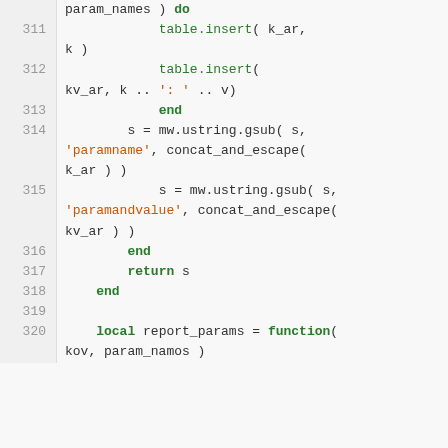[Figure (screenshot): Code editor screenshot showing Lua source code lines 311-320, with line numbers on the left, syntax highlighting: keywords in bold green, string literals in orange/red, regular code in dark gray, on a light gray background.]